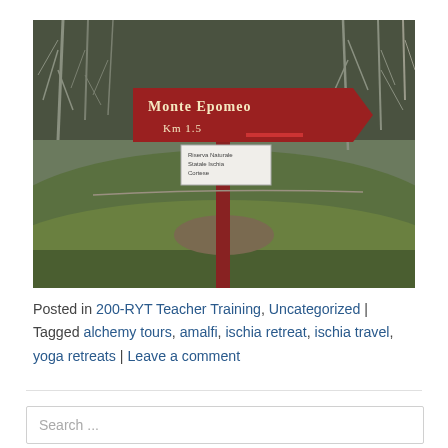[Figure (photo): Outdoor photograph of a trail sign reading 'Monte Epomeo Km 1.5' on a red post, surrounded by bare trees and green hillside vegetation in a forested area.]
Posted in 200-RYT Teacher Training, Uncategorized | Tagged alchemy tours, amalfi, ischia retreat, ischia travel, yoga retreats | Leave a comment
Search ...